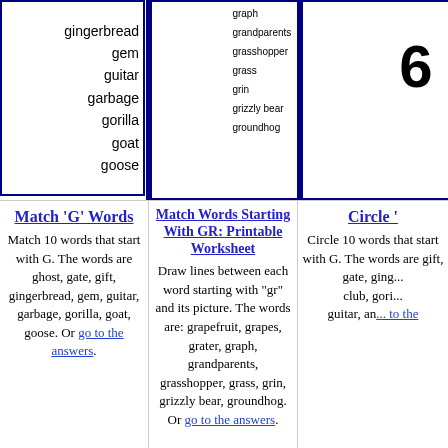[Figure (illustration): Worksheet thumbnail showing G words with small clipart images of ghost, gingerbread man, trash can, guitar, walrus/seal, goose, goat etc. with word list: gingerbread, gem, guitar, garbage, gorilla, goat, goose]
[Figure (illustration): Worksheet thumbnail showing GR words matching activity with small clipart images and word list: graph, grandparents, grasshopper, grass, grin, grizzly bear, groundhog]
[Figure (illustration): Worksheet thumbnail showing circle words activity with number 6, clipart of polar bear, guitar, squirrel]
Match 'G' Words
Match 10 words that start with G. The words are ghost, gate, gift, gingerbread, gem, guitar, garbage, gorilla, goat, goose. Or go to the answers.
Match Words Starting With GR: Printable Worksheet
Draw lines between each word starting with "gr" and its picture. The words are: grapefruit, grapes, grater, graph, grandparents, grasshopper, grass, grin, grizzly bear, groundhog. Or go to the answers.
Circle '
Circle 10 words that start with G. The words are gift, gate, ging... club, gori... guitar, and... go to the...